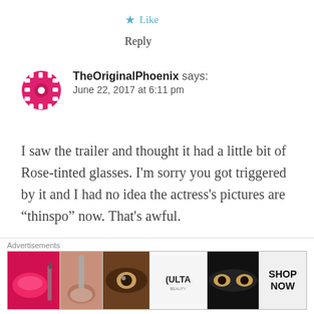★ Like
Reply
TheOriginalPhoenix says: June 22, 2017 at 6:11 pm
I saw the trailer and thought it had a little bit of Rose-tinted glasses. I'm sorry you got triggered by it and I had no idea the actress's pictures are “thinspo” now. That's awful.
★ Like
Advertisements